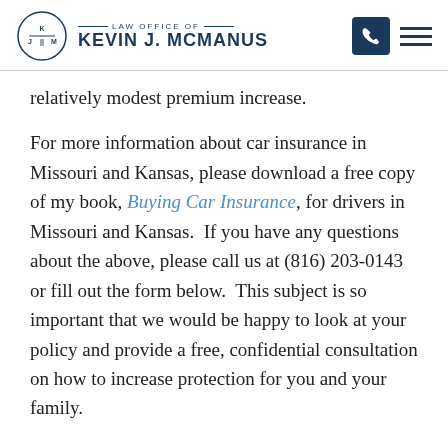Law Office of Kevin J. McManus
relatively modest premium increase.
For more information about car insurance in Missouri and Kansas, please download a free copy of my book, Buying Car Insurance, for drivers in Missouri and Kansas.  If you have any questions about the above, please call us at (816) 203-0143 or fill out the form below.  This subject is so important that we would be happy to look at your policy and provide a free, confidential consultation on how to increase protection for you and your family.